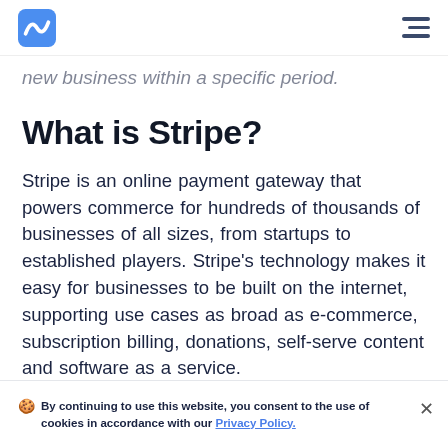[Stripe logo] [hamburger menu]
new business within a specific period.
What is Stripe?
Stripe is an online payment gateway that powers commerce for hundreds of thousands of businesses of all sizes, from startups to established players. Stripe's technology makes it easy for businesses to be built on the internet, supporting use cases as broad as e-commerce, subscription billing, donations, self-serve content and software as a service. Stripe's developer tools and APIs make it easy
🍪 By continuing to use this website, you consent to the use of cookies in accordance with our Privacy Policy.